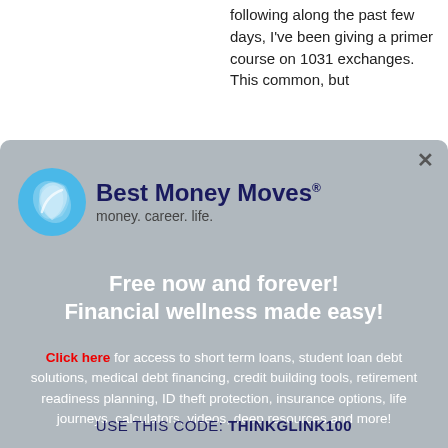following along the past few days, I've been giving a primer course on 1031 exchanges. This common, but
[Figure (logo): Best Money Moves logo: blue circular leaf icon with text 'Best Money Moves' in dark navy bold and tagline 'money. career. life.' below]
Free now and forever!
Financial wellness made easy!
Click here for access to short term loans, student loan debt solutions, medical debt financing, credit building tools, retirement readiness planning, ID theft protection, insurance options, life journeys, calculators, videos, deep resources and more!
USE THIS CODE: THINKGLINK100